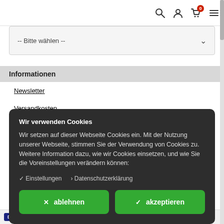Navigation bar with search, user, cart (0), and menu icons
-- Bitte wählen --
Informationen
Newsletter
Versandkosten
Updates
Wir verwenden Cookies

Wir setzen auf dieser Webseite Cookies ein. Mit der Nutzung unserer Webseite, stimmen Sie der Verwendung von Cookies zu. Weitere Information dazu, wie wir Cookies einsetzen, und wie Sie die Voreinstellungen verändern können:

✓ Einstellungen  › Datenschutzerklärung

✕ ablehnen   ✓ akzeptieren
Download